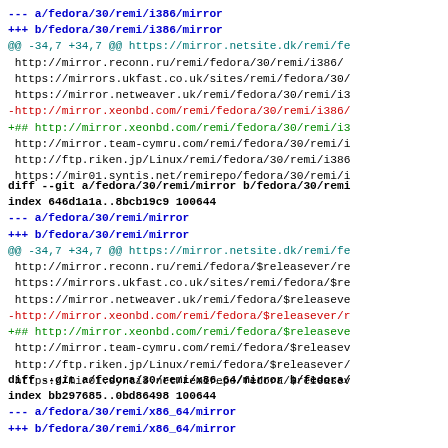--- a/fedora/30/remi/i386/mirror
+++ b/fedora/30/remi/i386/mirror
@@ -34,7 +34,7 @@ https://mirror.netsite.dk/remi/fe
 http://mirror.reconn.ru/remi/fedora/30/remi/i386/
 https://mirrors.ukfast.co.uk/sites/remi/fedora/30/
 https://mirror.netweaver.uk/remi/fedora/30/remi/i3
-http://mirror.xeonbd.com/remi/fedora/30/remi/i386/
+## http://mirror.xeonbd.com/remi/fedora/30/remi/i3
 http://mirror.team-cymru.com/remi/fedora/30/remi/i
 http://ftp.riken.jp/Linux/remi/fedora/30/remi/i386
 https://mir01.syntis.net/remirepo/fedora/30/remi/i
diff --git a/fedora/30/remi/mirror b/fedora/30/remi
index 646d1a1a..8bcb19c9 100644
--- a/fedora/30/remi/mirror
+++ b/fedora/30/remi/mirror
@@ -34,7 +34,7 @@ https://mirror.netsite.dk/remi/fe
 http://mirror.reconn.ru/remi/fedora/$releasever/re
 https://mirrors.ukfast.co.uk/sites/remi/fedora/$re
 https://mirror.netweaver.uk/remi/fedora/$releaseve
-http://mirror.xeonbd.com/remi/fedora/$releasever/r
+## http://mirror.xeonbd.com/remi/fedora/$releaseve
 http://mirror.team-cymru.com/remi/fedora/$releasev
 http://ftp.riken.jp/Linux/remi/fedora/$releasever/
 https://mir01.syntis.net/remirepo/fedora/$releasev
diff --git a/fedora/30/remi/x86_64/mirror b/fedora/
index bb297685..0bd86498 100644
--- a/fedora/30/remi/x86_64/mirror
+++ b/fedora/30/remi/x86_64/mirror